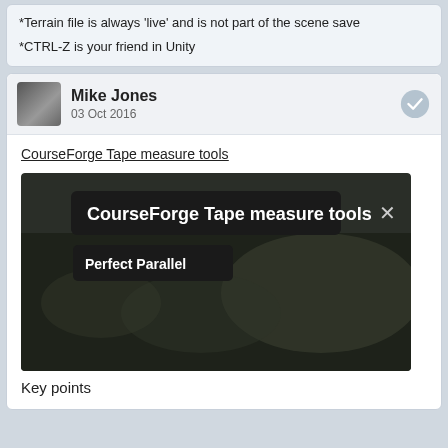*Terrain file is always 'live' and is not part of the scene save
*CTRL-Z is your friend in Unity
Mike Jones
03 Oct 2016
CourseForge Tape measure tools
[Figure (screenshot): Screenshot of CourseForge Tape measure tools dialog with 'Perfect Parallel' button on dark background]
Key points